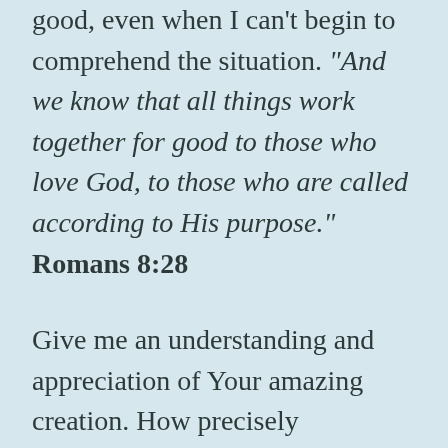good, even when I can't begin to comprehend the situation. “And we know that all things work together for good to those who love God, to those who are called according to His purpose.” Romans 8:28
Give me an understanding and appreciation of Your amazing creation. How precisely everything works together to provide not only for human beings, but for all